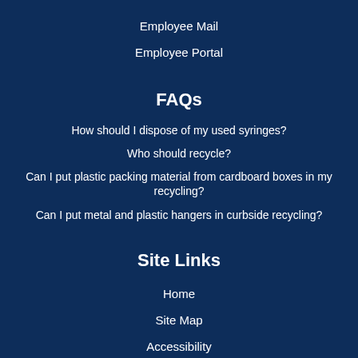Employee Mail
Employee Portal
FAQs
How should I dispose of my used syringes?
Who should recycle?
Can I put plastic packing material from cardboard boxes in my recycling?
Can I put metal and plastic hangers in curbside recycling?
Site Links
Home
Site Map
Accessibility